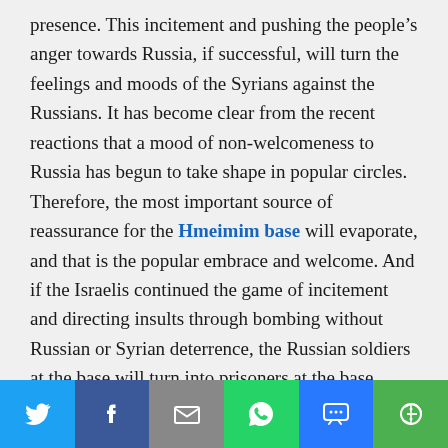presence. This incitement and pushing the people's anger towards Russia, if successful, will turn the feelings and moods of the Syrians against the Russians. It has become clear from the recent reactions that a mood of non-welcomeness to Russia has begun to take shape in popular circles. Therefore, the most important source of reassurance for the Hmeimim base will evaporate, and that is the popular embrace and welcome. And if the Israelis continued the game of incitement and directing insults through bombing without Russian or Syrian deterrence, the Russian soldiers at the base will turn into prisoners at the base because they will not roam freely in the streets of Syrian cities and will find people throwing stones at them after people were going to shake hands
[Figure (other): Social media share bar with icons for Twitter, Facebook, Email, WhatsApp, SMS, and More]